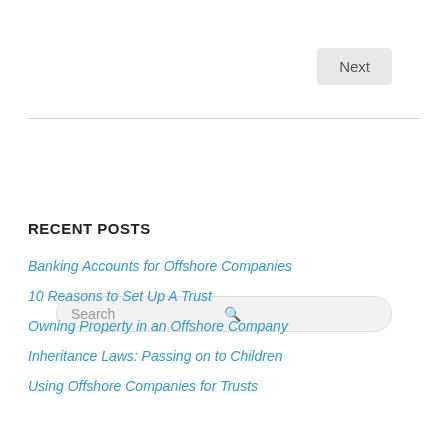Next
RECENT POSTS
Banking Accounts for Offshore Companies
10 Reasons to Set Up A Trust
Owning Property in an Offshore Company
Inheritance Laws: Passing on to Children
Using Offshore Companies for Trusts